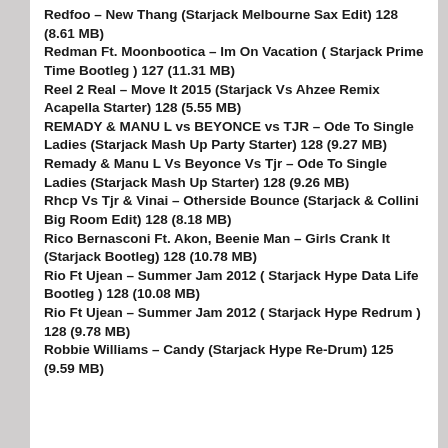Redfoo – New Thang (Starjack Melbourne Sax Edit) 128 (8.61 MB)
Redman Ft. Moonbootica – Im On Vacation ( Starjack Prime Time Bootleg ) 127 (11.31 MB)
Reel 2 Real – Move It 2015 (Starjack Vs Ahzee Remix Acapella Starter) 128 (5.55 MB)
REMADY & MANU L vs BEYONCE vs TJR – Ode To Single Ladies (Starjack Mash Up Party Starter) 128 (9.27 MB)
Remady & Manu L Vs Beyonce Vs Tjr – Ode To Single Ladies (Starjack Mash Up Starter) 128 (9.26 MB)
Rhcp Vs Tjr & Vinai – Otherside Bounce (Starjack & Collini Big Room Edit) 128 (8.18 MB)
Rico Bernasconi Ft. Akon, Beenie Man – Girls Crank It (Starjack Bootleg) 128 (10.78 MB)
Rio Ft Ujean – Summer Jam 2012 ( Starjack Hype Data Life Bootleg ) 128 (10.08 MB)
Rio Ft Ujean – Summer Jam 2012 ( Starjack Hype Redrum ) 128 (9.78 MB)
Robbie Williams – Candy (Starjack Hype Re-Drum) 125 (9.59 MB)